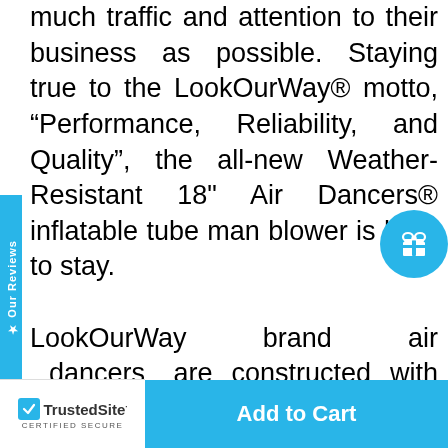much traffic and attention to their business as possible. Staying true to the LookOurWay® motto, "Performance, Reliability, and Quality", the all-new Weather-Resistant 18" Air Dancers® inflatable tube man blower is here to stay.

LookOurWay brand air dancers are constructed with high strength polyamide nylon silk with added tarpaulin. The added tarpaulin brings added flex properties that ensure a longer-lasting and more flexible rip-proof product. The special formula of air dancer material used by LookOurWay brand inflatables has been formulated by over 5 years of experimentation and...
[Figure (other): Side tab button with 'Our Reviews' text in white on cyan background]
[Figure (other): Gift icon button (circle, cyan) in top-right area]
[Figure (other): Bottom bar with TrustedSite certified secure badge, Add to Cart button, and Chat button]